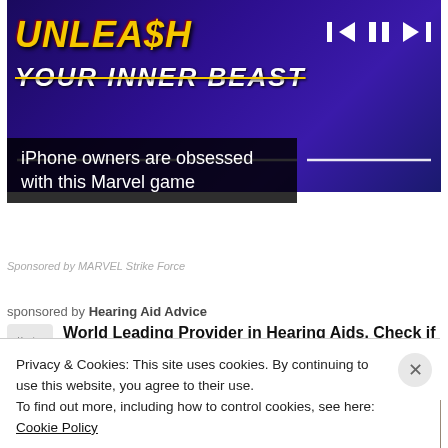[Figure (screenshot): Advertisement banner for MARVEL Strike Force game showing 'UNLEASH YOUR INNER BEAST' text in yellow italic bold font on a dark purple/blue background with a person holding a phone, media playback controls visible at top right]
iPhone owners are obsessed with this Marvel game
Sponsored by MARVEL Strike Force
sponsored by Hearing Aid Advice
World Leading Provider in Hearing Aids. Check if you qualify for a no-risk trial today!
[Figure (photo): Partial photo strip showing blurred/cropped images, left portion brownish tones and right portion showing a person's hair]
Privacy & Cookies: This site uses cookies. By continuing to use this website, you agree to their use.
To find out more, including how to control cookies, see here: Cookie Policy
Close and accept